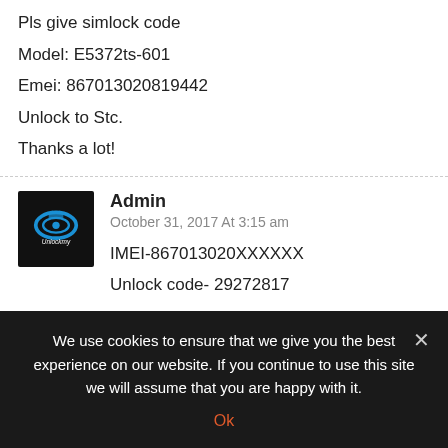Pls give simlock code
Model: E5372ts-601
Emei: 867013020819442
Unlock to Stc.

Thanks a lot!
[Figure (logo): Admin avatar: black square with blue swirl logo and 'Unlockmy' text]
Admin
October 31, 2017 At 3:15 am
IMEI-867013020XXXXXX
Unlock code- 29272817
[Figure (photo): Brown circular avatar for next comment, partially visible]
We use cookies to ensure that we give you the best experience on our website. If you continue to use this site we will assume that you are happy with it.
Ok